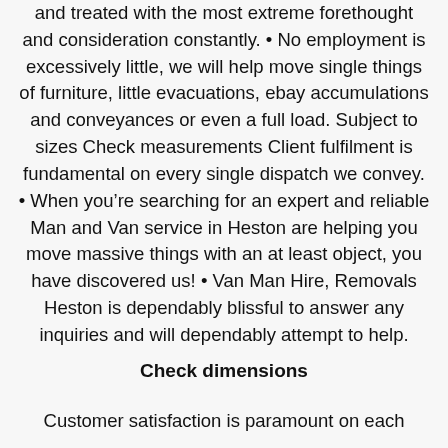and treated with the most extreme forethought and consideration constantly. • No employment is excessively little, we will help move single things of furniture, little evacuations, ebay accumulations and conveyances or even a full load. Subject to sizes Check measurements Client fulfilment is fundamental on every single dispatch we convey. • When you're searching for an expert and reliable Man and Van service in Heston are helping you move massive things with an at least object, you have discovered us! • Van Man Hire, Removals Heston is dependably blissful to answer any inquiries and will dependably attempt to help.
Check dimensions
Customer satisfaction is paramount on each